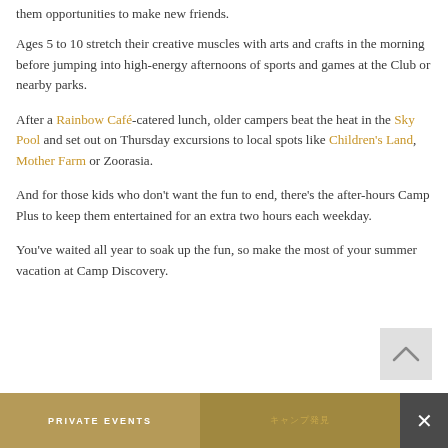them opportunities to make new friends.
Ages 5 to 10 stretch their creative muscles with arts and crafts in the morning before jumping into high-energy afternoons of sports and games at the Club or nearby parks.
After a Rainbow Café-catered lunch, older campers beat the heat in the Sky Pool and set out on Thursday excursions to local spots like Children's Land, Mother Farm or Zoorasia.
And for those kids who don't want the fun to end, there's the after-hours Camp Plus to keep them entertained for an extra two hours each weekday.
You've waited all year to soak up the fun, so make the most of your summer vacation at Camp Discovery.
PRIVATE EVENTS | キャンプ発見 | ×